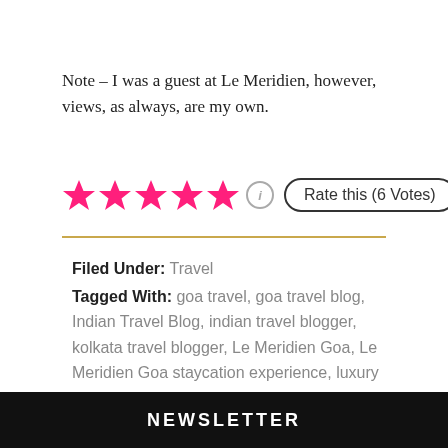Note – I was a guest at Le Meridien, however, views, as always, are my own.
[Figure (other): 5-star rating widget showing 5 pink/magenta stars, an info icon, and a 'Rate this (6 Votes)' button]
Filed Under: Travel
Tagged With: goa travel, goa travel blog, Indian Travel Blog, indian travel blogger, kolkata travel blogger, Le Meridien Goa, Le Meridien Goa staycation experience, luxury travel blogger, Travel, Travel Blog
NEWSLETTER